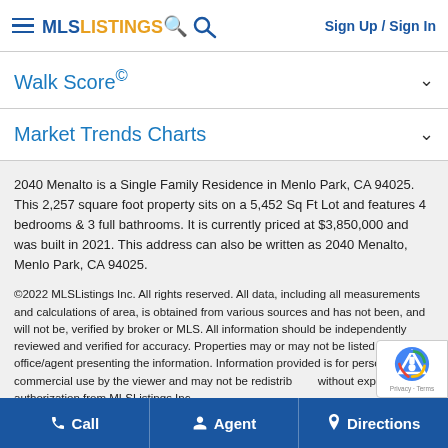MLS LISTINGS | Sign Up / Sign In
Walk Score©
Market Trends Charts
2040 Menalto is a Single Family Residence in Menlo Park, CA 94025. This 2,257 square foot property sits on a 5,452 Sq Ft Lot and features 4 bedrooms & 3 full bathrooms. It is currently priced at $3,850,000 and was built in 2021. This address can also be written as 2040 Menalto, Menlo Park, CA 94025.
©2022 MLSListings Inc. All rights reserved. All data, including all measurements and calculations of area, is obtained from various sources and has not been, and will not be, verified by broker or MLS. All information should be independently reviewed and verified for accuracy. Properties may or may not be listed by the office/agent presenting the information. Information provided is for personal, non-commercial use by the viewer and may not be redistributed without explicit authorization from MLSListings Inc.
Call | Agent | Directions